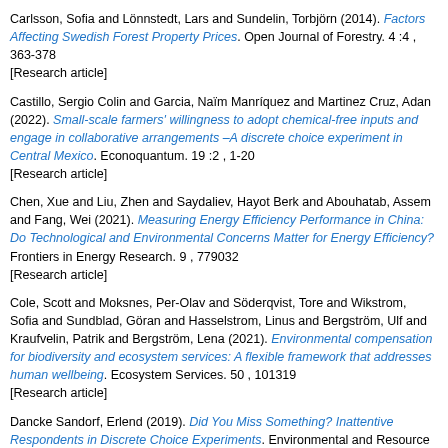Carlsson, Sofia and Lönnstedt, Lars and Sundelin, Torbjörn (2014). Factors Affecting Swedish Forest Property Prices. Open Journal of Forestry. 4 :4 , 363-378
[Research article]
Castillo, Sergio Colin and Garcia, Naïm Manríquez and Martinez Cruz, Adan (2022). Small-scale farmers' willingness to adopt chemical-free inputs and engage in collaborative arrangements –A discrete choice experiment in Central Mexico. Econoquantum. 19 :2 , 1-20
[Research article]
Chen, Xue and Liu, Zhen and Saydaliev, Hayot Berk and Abouhatab, Assem and Fang, Wei (2021). Measuring Energy Efficiency Performance in China: Do Technological and Environmental Concerns Matter for Energy Efficiency? Frontiers in Energy Research. 9 , 779032
[Research article]
Cole, Scott and Moksnes, Per-Olav and Söderqvist, Tore and Wikstrom, Sofia and Sundblad, Göran and Hasselstrom, Linus and Bergström, Ulf and Kraufvelin, Patrik and Bergström, Lena (2021). Environmental compensation for biodiversity and ecosystem services: A flexible framework that addresses human wellbeing. Ecosystem Services. 50 , 101319
[Research article]
Dancke Sandorf, Erlend (2019). Did You Miss Something? Inattentive Respondents in Discrete Choice Experiments. Environmental and Resource Economics. 73 , 1197-1235
[Research article]
Delmond, Anthony R. and Ahmed, Haseeb (2021). Optimal Antimicrobial Use...